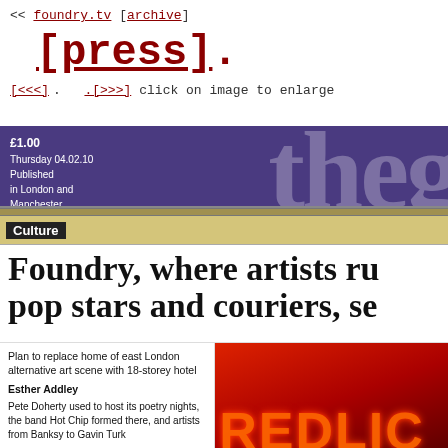<< foundry.tv [archive]
[press].
[<<<]  .[>>>] click on image to enlarge
[Figure (screenshot): Screenshot of The Guardian newspaper front page dated Thursday 04.02.10, price £1.00, published in London and Manchester, guardian.co.uk. Shows the Culture section with the partial headline 'Foundry, where artists ru... pop stars and couriers, se...' with standfirst 'Plan to replace home of east London alternative art scene with 18-storey hotel', byline 'Esther Addley', and body text beginning 'Pete Doherty used to host its poetry nights, the band Hot Chip formed there, and artists from Banksy to Gavin Turk'. An image on the right shows a red neon sign reading 'REDLIC' (partially cropped).]